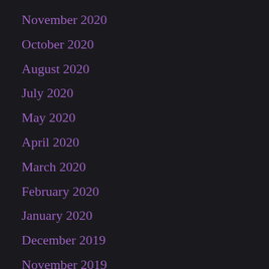November 2020
October 2020
August 2020
July 2020
May 2020
April 2020
March 2020
February 2020
January 2020
December 2019
November 2019